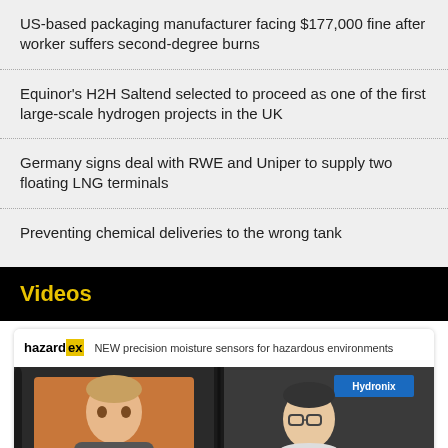US-based packaging manufacturer facing $177,000 fine after worker suffers second-degree burns
Equinor's H2H Saltend selected to proceed as one of the first large-scale hydrogen projects in the UK
Germany signs deal with RWE and Uniper to supply two floating LNG terminals
Preventing chemical deliveries to the wrong tank
Videos
[Figure (screenshot): Video thumbnail showing hazardex logo, caption 'NEW precision moisture sensors for hazardous environments', and two people in a video frame with Hydronix branding visible]